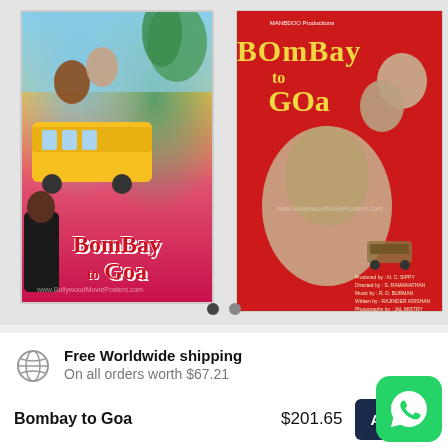[Figure (photo): Two Bollywood movie posters for 'Bombay to Goa'. Left poster shows colorful illustrated artwork with characters and a bus, text reads 'Bombay to Goa' in red. Right poster has a red background with black-and-white photo of actors and yellow stylized title text 'Bombay to Goa', with production credits at bottom.]
Free Worldwide shipping
On all orders worth $67.21
Bombay to Goa
$201.65
Add to